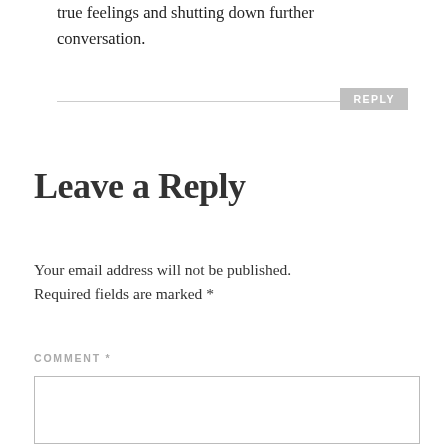true feelings and shutting down further conversation.
REPLY
Leave a Reply
Your email address will not be published. Required fields are marked *
COMMENT *